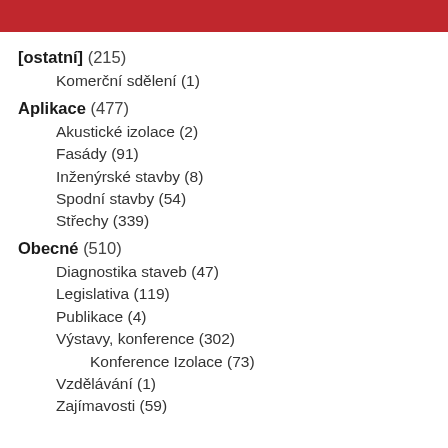RUBRIK...
[ostatní] (215)
Komerční sdělení (1)
Aplikace (477)
Akustické izolace (2)
Fasády (91)
Inženýrské stavby (8)
Spodní stavby (54)
Střechy (339)
Obecné (510)
Diagnostika staveb (47)
Legislativa (119)
Publikace (4)
Výstavy, konference (302)
Konference Izolace (73)
Vzdělávání (1)
Zajímavosti (59)